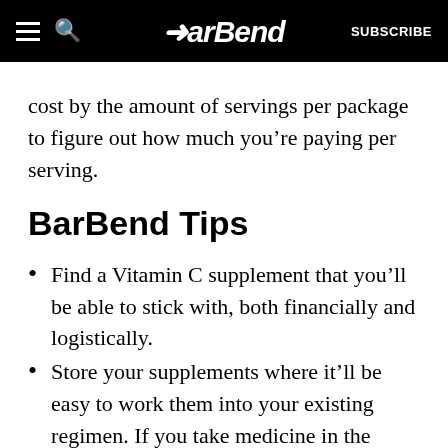BarBend | SUBSCRIBE
cost by the amount of servings per package to figure out how much you’re paying per serving.
BarBend Tips
Find a Vitamin C supplement that you’ll be able to stick with, both financially and logistically.
Store your supplements where it’ll be easy to work them into your existing regimen. If you take medicine in the bathroom, but